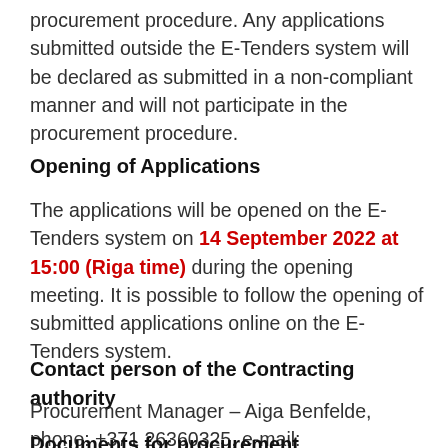procurement procedure. Any applications submitted outside the E-Tenders system will be declared as submitted in a non-compliant manner and will not participate in the procurement procedure.
Opening of Applications
The applications will be opened on the E-Tenders system on 14 September 2022 at 15:00 (Riga time) during the opening meeting. It is possible to follow the opening of submitted applications online on the E-Tenders system.
Contact person of the Contracting authority
Procurement Manager – Aiga Benfelde, phone: +371 26360325, e-mail: aiga.benfelde@railbaltica.org.
Documents for procurement